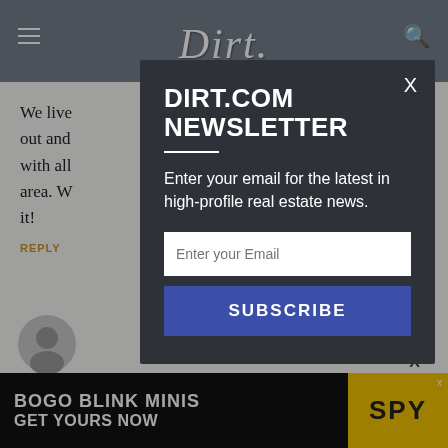Dirt (Dirt.com) - navigation bar with logo
We live ... see her out and ... in great with all ... mediate area. W... ll love it!
REPLY
Love it ...
[Figure (screenshot): Ad banner: BOGO BLINK MINIS GET YOURS NOW with SPY logo]
DIRT.COM NEWSLETTER
Enter your email for the latest in high-profile real estate news.
Enter your Email
SUBSCRIBE